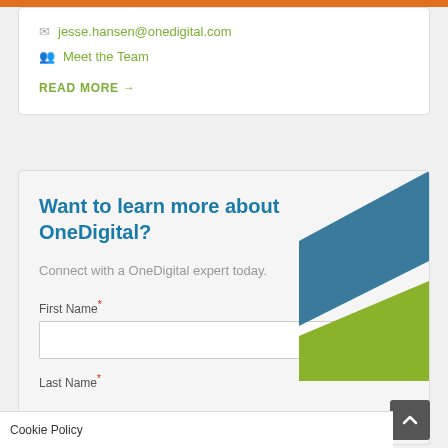jesse.hansen@onedigital.com
Meet the Team
READ MORE →
Want to learn more about OneDigital?
Connect with a OneDigital expert today.
First Name*
Last Name*
Cookie Policy